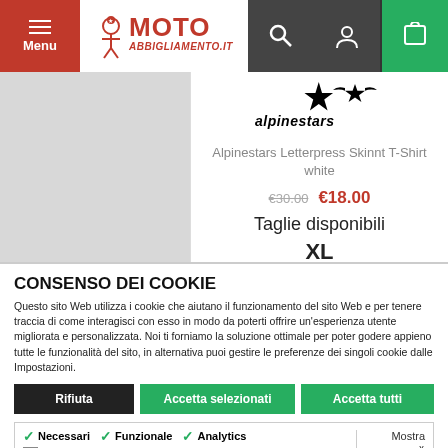[Figure (screenshot): MotoAbbigliamento.it website header with menu, logo, search, user, and cart icons]
[Figure (screenshot): Product listing showing Alpinestars logo, Alpinestars Letterpress Skinnt T-Shirt white, original price €30.00, sale price €18.00, Taglie disponibili: XL]
CONSENSO DEI COOKIE
Questo sito Web utilizza i cookie che aiutano il funzionamento del sito Web e per tenere traccia di come interagisci con esso in modo da poterti offrire un'esperienza utente migliorata e personalizzata. Noi ti forniamo la soluzione ottimale per poter godere appieno tutte le funzionalità del sito, in alternativa puoi gestire le preferenze dei singoli cookie dalle Impostazioni.
Rifiuta | Accetta selezionati | Accetta tutti
Necessari | Funzionale | Analytics | Advertisement | Mostra dettagli